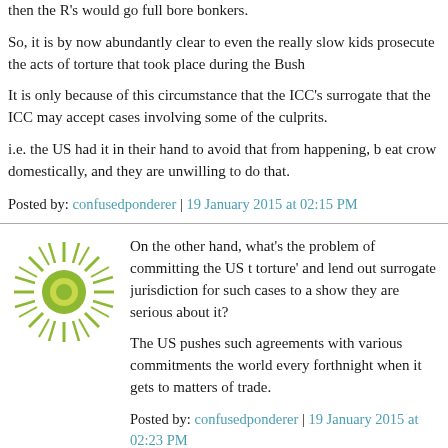then the R's would go full bore bonkers.
So, it is by now abundantly clear to even the really slow kids prosecute the acts of torture that took place during the Bush
It is only because of this circumstance that the ICC's surrogate that the ICC may accept cases involving some of the culprits.
i.e. the US had it in their hand to avoid that from happening, b eat crow domestically, and they are unwilling to do that.
Posted by: confusedponderer | 19 January 2015 at 02:15 PM
[Figure (illustration): Green sunburst avatar icon with circular center]
On the other hand, what's the problem of committing the US t torture' and lend out surrogate jurisdiction for such cases to a show they are serious about it?
The US pushes such agreements with various commitments the world every forthnight when it gets to matters of trade.
Posted by: confusedponderer | 19 January 2015 at 02:23 PM
[Figure (illustration): Green sunburst avatar icon with circular center]
Surely a huge elephant in the room is the drone campaign.